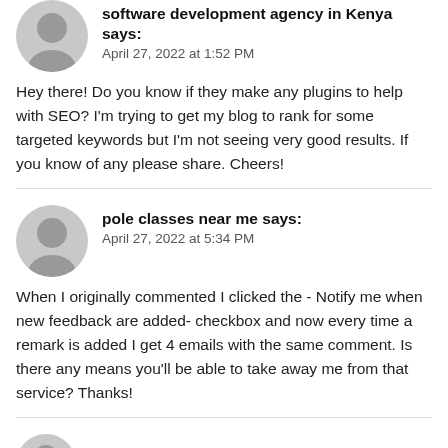software development agency in Kenya says:
April 27, 2022 at 1:52 PM
Hey there! Do you know if they make any plugins to help with SEO? I'm trying to get my blog to rank for some targeted keywords but I'm not seeing very good results. If you know of any please share. Cheers!
pole classes near me says:
April 27, 2022 at 5:34 PM
When I originally commented I clicked the - Notify me when new feedback are added- checkbox and now every time a remark is added I get 4 emails with the same comment. Is there any means you'll be able to take away me from that service? Thanks!